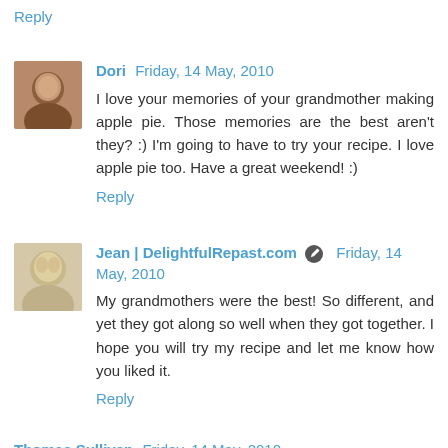Reply
Dori  Friday, 14 May, 2010
I love your memories of your grandmother making apple pie. Those memories are the best aren't they? :) I'm going to have to try your recipe. I love apple pie too. Have a great weekend! :)
Reply
Jean | DelightfulRepast.com  Friday, 14 May, 2010
My grandmothers were the best! So different, and yet they got along so well when they got together. I hope you will try my recipe and let me know how you liked it.
Reply
Thomas Sullivan  Friday, 14 May, 2010
Well, golleee, that looks/sounds good enough to eat! Matter